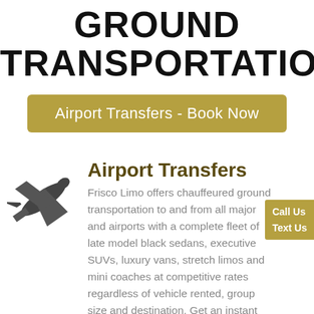GROUND TRANSPORTATION
Airport Transfers - Book Now
Airport Transfers
Frisco Limo offers chauffeured ground transportation to and from all major and airports with a complete fleet of late model black sedans, executive SUVs, luxury vans, stretch limos and mini coaches at competitive rates regardless of vehicle rented, group size and destination. Get an instant quote and book online.
Call Us
Text Us